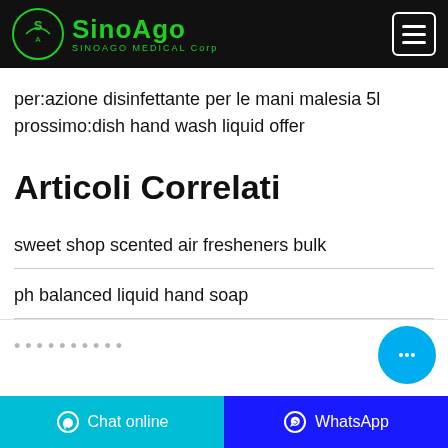SINOAGO SINOAGO MEDICAL Corp
per:azione disinfettante per le mani malesia 5l	prossimo:dish hand wash liquid offer
Articoli Correlati
sweet shop scented air fresheners bulk
ph balanced liquid hand soap
Chat online   WhatsApp